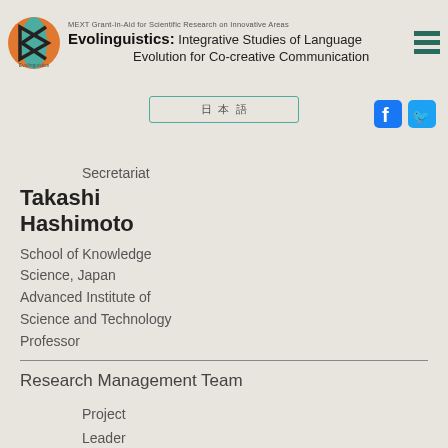MEXT Grant-In-Aid for Scientific Research on Innovative Areas Evolinguistics: Integrative Studies of Language Evolution for Co-creative Communication
Secretariat
Takashi
Hashimoto
School of Knowledge Science, Japan Advanced Institute of Science and Technology Professor
Research Management Team
Project
Leader
Kazuo